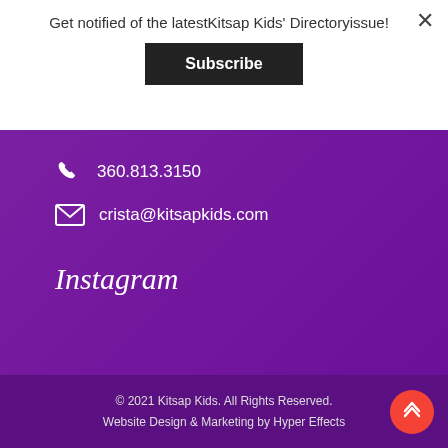Get notified of the latestKitsap Kids' Directoryissue!
Subscribe
360.813.3150
crista@kitsapkids.com
Instagram
© 2021 Kitsap Kids. All Rights Reserved.
Website Design & Marketing by Hyper Effects